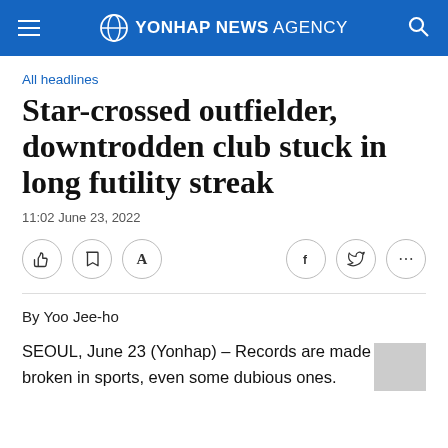YONHAP NEWS AGENCY
All headlines
Star-crossed outfielder, downtrodden club stuck in long futility streak
11:02 June 23, 2022
By Yoo Jee-ho
SEOUL, June 23 (Yonhap) – Records are made to be broken in sports, even some dubious ones.